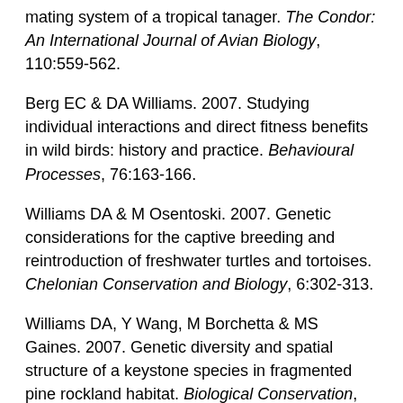mating system of a tropical tanager. The Condor: An International Journal of Avian Biology, 110:559-562.
Berg EC & DA Williams. 2007. Studying individual interactions and direct fitness benefits in wild birds: history and practice. Behavioural Processes, 76:163-166.
Williams DA & M Osentoski. 2007. Genetic considerations for the captive breeding and reintroduction of freshwater turtles and tortoises. Chelonian Conservation and Biology, 6:302-313.
Williams DA, Y Wang, M Borchetta & MS Gaines. 2007. Genetic diversity and spatial structure of a keystone species in fragmented pine rockland habitat. Biological Conservation, 138:256-268.
Williams DA & AM Hale. 2007. Female-biased helping in a cooperatively breeding bird: female benefits or male costs?